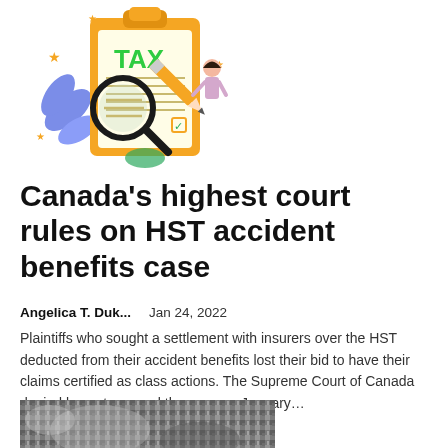[Figure (illustration): Illustration of a tax clipboard with the word TAX in green, a magnifying glass, a pencil, and a small figure of a person, with decorative stars and blue leaf shapes in the background.]
Canada's highest court rules on HST accident benefits case
Angelica T. Duk...   Jan 24, 2022
Plaintiffs who sought a settlement with insurers over the HST deducted from their accident benefits lost their bid to have their claims certified as class actions. The Supreme Court of Canada denied leave to appeal the case on January…
[Figure (photo): A black-and-white photograph partially visible at the bottom of the page.]